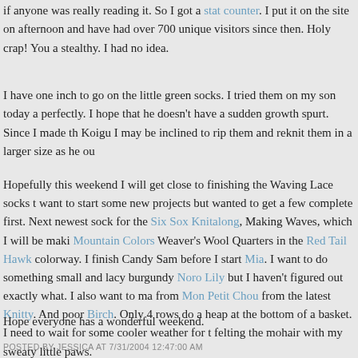if anyone was really reading it. So I got a stat counter. I put it on the site on afternoon and have had over 700 unique visitors since then. Holy crap! You a stealthy. I had no idea.
I have one inch to go on the little green socks. I tried them on my son today a perfectly. I hope that he doesn't have a sudden growth spurt. Since I made th Koigu I may be inclined to rip them and reknit them in a larger size as he ou
Hopefully this weekend I will get close to finishing the Waving Lace socks t want to start some new projects but wanted to get a few complete first. Next newest sock for the Six Sox Knitalong, Making Waves, which I will be maki Mountain Colors Weaver's Wool Quarters in the Red Tail Hawk colorway. I finish Candy Sam before I start Mia. I want to do something small and lacy burgundy Noro Lily but I haven't figured out exactly what. I also want to ma from Mon Petit Chou from the latest Knitty. And poor Birch. Only 4 rows do a heap at the bottom of a basket. I need to wait for some cooler weather for t felting the mohair with my sweaty little paws.
Hope everyone has a wonderful weekend.
POSTED BY JESSICA AT 7/31/2004 12:47:00 AM